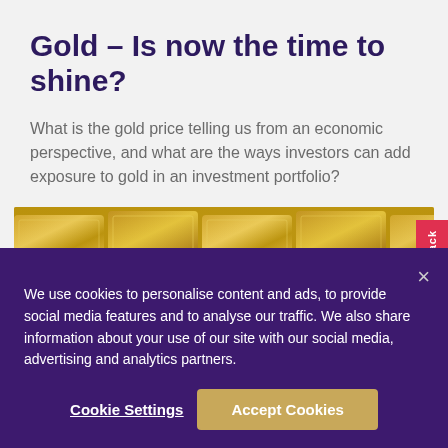Gold – Is now the time to shine?
What is the gold price telling us from an economic perspective, and what are the ways investors can add exposure to gold in an investment portfolio?
[Figure (photo): Stacked gold bars photographed from above, showing engraved text and reflective surfaces]
We use cookies to personalise content and ads, to provide social media features and to analyse our traffic. We also share information about your use of our site with our social media, advertising and analytics partners.
Cookie Settings    Accept Cookies